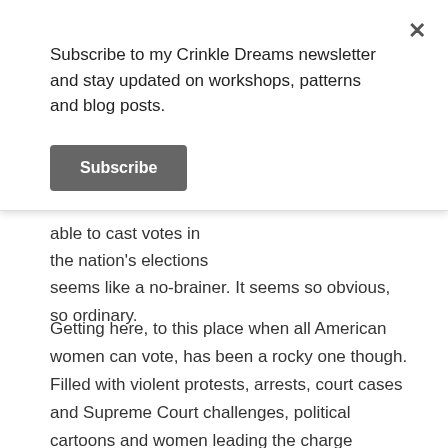Subscribe to my Crinkle Dreams newsletter and stay updated on workshops, patterns and blog posts.
Subscribe
able to cast votes in the nation's elections seems like a no-brainer. It seems so obvious, so ordinary.
Getting here, to this place when all American women can vote, has been a rocky one though. Filled with violent protests, arrests, court cases and Supreme Court challenges, political cartoons and women leading the charge against their own rights as citizens. [https://www.history.com/topics/womens-history/the-fight-for-womens-suffrage]